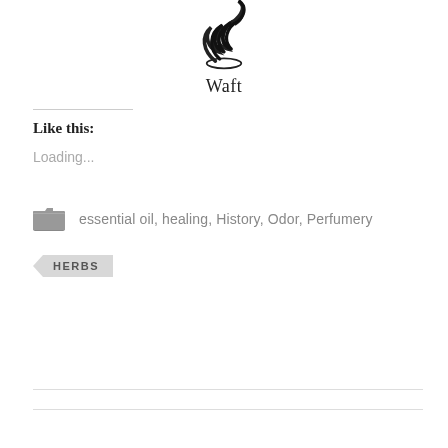[Figure (logo): Waft logo: stylized swirling smoke/flame icon in black above the word 'Waft']
Like this:
Loading...
essential oil, healing, History, Odor, Perfumery
HERBS